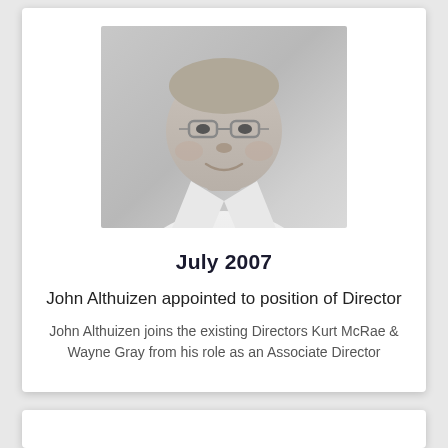[Figure (photo): Black and white headshot photo of John Althuizen, a heavyset man wearing glasses and a white shirt, smiling slightly]
July 2007
John Althuizen appointed to position of Director
John Althuizen joins the existing Directors Kurt McRae & Wayne Gray from his role as an Associate Director